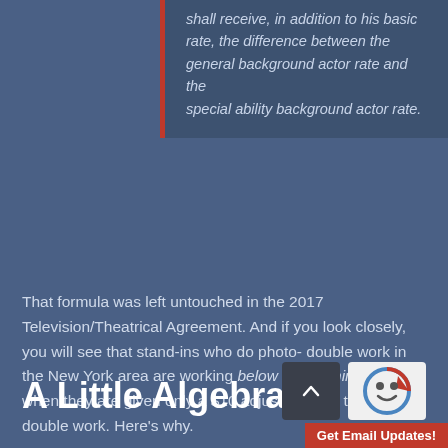shall receive, in addition to his basic rate, the difference between the general background actor rate and the special ability background actor rate.
That formula was left untouched in the 2017 Television/Theatrical Agreement. And if you look closely, you will see that stand-ins who do photo-double work in the New York area are working below their minimum wage when they are given only a $10 adjustment for their photo-double work. Here's why.
A Little Algebra